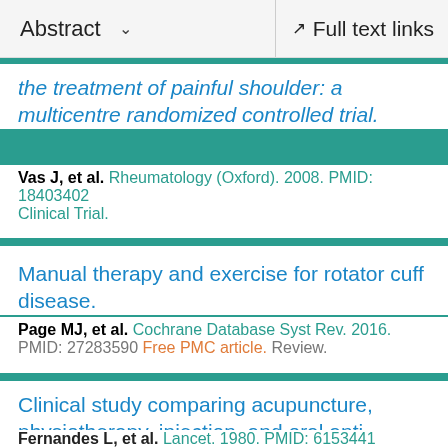Abstract   ∨   Full text links
the treatment of painful shoulder: a multicentre randomized controlled trial.
Vas J, et al. Rheumatology (Oxford). 2008. PMID: 18403402 Clinical Trial.
Manual therapy and exercise for rotator cuff disease.
Page MJ, et al. Cochrane Database Syst Rev. 2016. PMID: 27283590 Free PMC article. Review.
Clinical study comparing acupuncture, physiotherapy, injection, and oral anti-inflammatory therapy in shoulder-cuff lesions.
Fernandes L, et al. Lancet. 1980. PMID: 6153441 Clinical Trial. No abstract available.